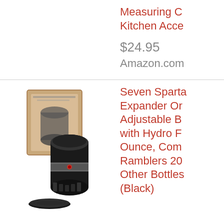Measuring C… Kitchen Acce…
$24.95
Amazon.com
[Figure (photo): Product photo of a black cup holder expander with packaging box, shown with a flat circular base coaster, on white background]
Seven Sparta… Expander Or… Adjustable B… with Hydro F… Ounce, Com… Ramblers 20… Other Bottles… (Black)